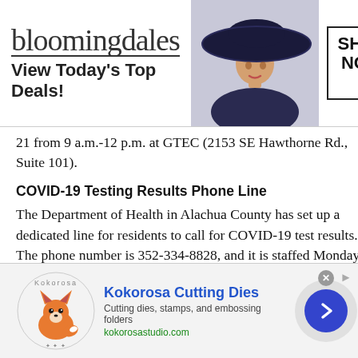[Figure (screenshot): Bloomingdale's advertisement banner: logo text 'bloomingdales', tagline 'View Today's Top Deals!', woman in wide-brim hat, 'SHOP NOW >' button]
21 from 9 a.m.-12 p.m. at GTEC (2153 SE Hawthorne Rd., Suite 101).
COVID-19 Testing Results Phone Line
The Department of Health in Alachua County has set up a dedicated line for residents to call for COVID-19 test results. The phone number is 352-334-8828, and it is staffed Monday through Friday, from 8 a.m.-4:30 p.m.
[Figure (screenshot): Kokorosa Cutting Dies advertisement: logo with fox, brand name 'Kokorosa Cutting Dies', tagline 'Cutting dies, stamps, and embossing folders', URL 'kokorosastudio.com', blue circular chevron button]